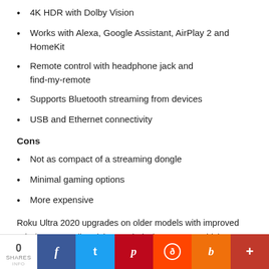4K HDR with Dolby Vision
Works with Alexa, Google Assistant, AirPlay 2 and HomeKit
Remote control with headphone jack and find-my-remote
Supports Bluetooth streaming from devices
USB and Ethernet connectivity
Cons
Not as compact of a streaming dongle
Minimal gaming options
More expensive
Roku Ultra 2020 upgrades on older models with improved Wi-Fi range, Dolby Vision, and AirPlay support, which bundles onto a whole host of other features that makes Roku a favorite for many. The Roku Ultra has our favorite remote control, and plays nicer with non-Google speakers and tech, but is twice the price as its rival—unless it's on sale.
0 SHARES | Facebook | Twitter | Pinterest | Reddit | Buffer | More